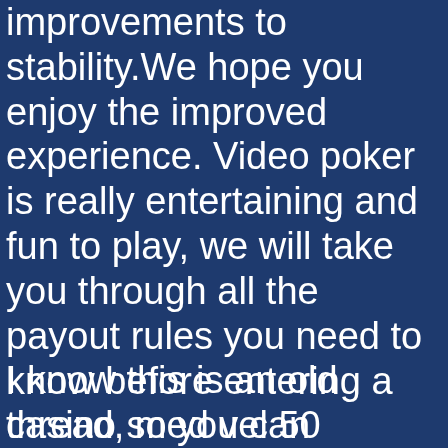improvements to stability.We hope you enjoy the improved experience. Video poker is really entertaining and fun to play, we will take you through all the payout rules you need to know before entering a casino so you can maximize your profits.
I know this is an old thread, med vel 50 prosent av